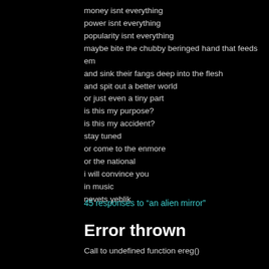money isnt everything
power isnt everything
popularity isnt everything
maybe bite the chubby beringed hand that feeds em
and sink their fangs deep into the flesh
and spit out a better world
or just even a tiny part
is this my purpose?
is this my accident?
stay tuned
or come to the enmore
or the national
i will convince you
in music
nevets yeblik
45 responses to “an alien mirror”
Error thrown
Call to undefined function ereg()